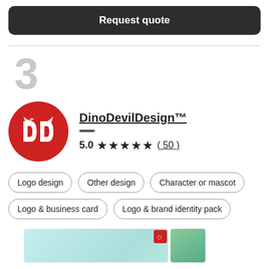Request quote
3
[Figure (logo): DinoDevilDesign red circular logo with stylized DD letters]
DinoDevilDesign™
5.0 ★★★★★ (50)
Logo design
Other design
Character or mascot
Logo & business card
Logo & brand identity pack
[Figure (illustration): Preview strip showing a teal/mint illustration thumbnail with DinoDevilDesign badge and a colorful character illustration on the right]